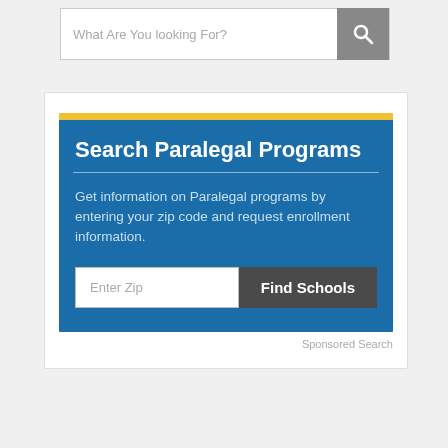What Are You looking For?
[Figure (screenshot): Search paralegal programs widget with blue background, yellow top border, title 'Search Paralegal Programs', description text, zip code input, and Find Schools button]
Sponsored Search